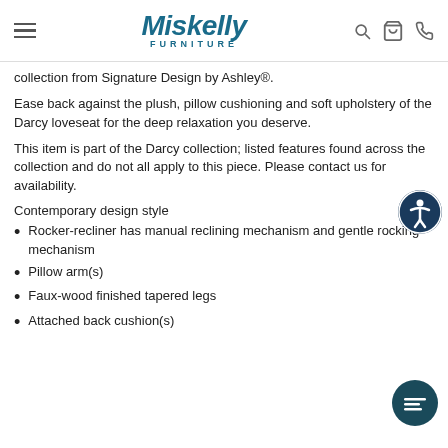Miskelly FURNITURE
collection from Signature Design by Ashley®.
Ease back against the plush, pillow cushioning and soft upholstery of the Darcy loveseat for the deep relaxation you deserve.
This item is part of the Darcy collection; listed features found across the collection and do not all apply to this piece. Please contact us for availability.
Contemporary design style
Rocker-recliner has manual reclining mechanism and gentle rocking mechanism
Pillow arm(s)
Faux-wood finished tapered legs
Attached back cushion(s)